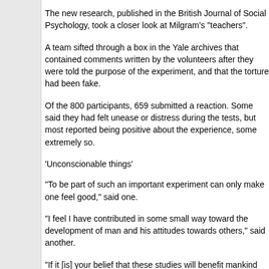The new research, published in the British Journal of Social Psychology, took a closer look at Milgram's "teachers".
A team sifted through a box in the Yale archives that contained comments written by the volunteers after they were told the purpose of the experiment, and that the torture had been fake.
Of the 800 participants, 659 submitted a reaction. Some said they had felt unease or distress during the tests, but most reported being positive about the experience, some extremely so.
'Unconscionable things'
"To be part of such an important experiment can only make one feel good," said one.
"I feel I have contributed in some small way toward the development of man and his attitudes towards others," said another.
"If it [is] your belief that these studies will benefit mankind then I say we should have more of them," said another.
Were these happy comments spurred by relief, after